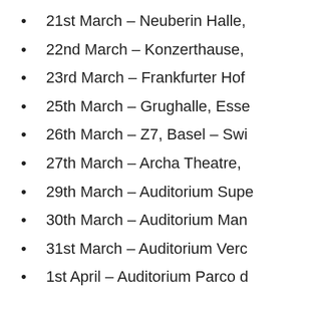21st March – Neuberin Halle,
22nd March – Konzerthause,
23rd March – Frankfurter Hof
25th March – Grughalle, Esse
26th March – Z7, Basel – Swi
27th March – Archa Theatre,
29th March – Auditorium Supe
30th March – Auditorium Man
31st March – Auditorium Verc
1st April – Auditorium Parco d